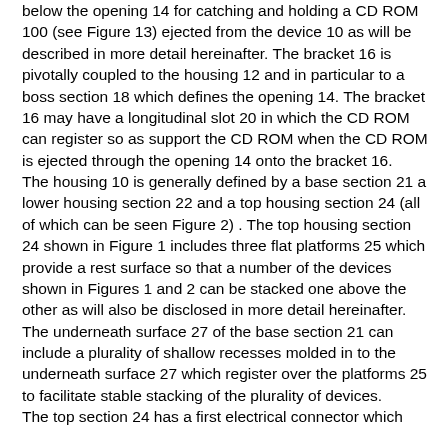below the opening 14 for catching and holding a CD ROM 100 (see Figure 13) ejected from the device 10 as will be described in more detail hereinafter. The bracket 16 is pivotally coupled to the housing 12 and in particular to a boss section 18 which defines the opening 14. The bracket 16 may have a longitudinal slot 20 in which the CD ROM can register so as support the CD ROM when the CD ROM is ejected through the opening 14 onto the bracket 16. The housing 10 is generally defined by a base section 21 a lower housing section 22 and a top housing section 24 (all of which can be seen Figure 2) . The top housing section 24 shown in Figure 1 includes three flat platforms 25 which provide a rest surface so that a number of the devices shown in Figures 1 and 2 can be stacked one above the other as will also be disclosed in more detail hereinafter. The underneath surface 27 of the base section 21 can include a plurality of shallow recesses molded in to the underneath surface 27 which register over the platforms 25 to facilitate stable stacking of the plurality of devices. The top section 24 has a first electrical connector which